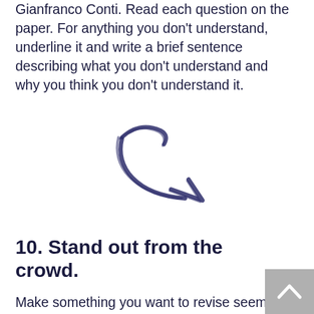Gianfranco Conti. Read each question on the paper. For anything you don't understand, underline it and write a brief sentence describing what you don't understand and why you think you don't understand it.
[Figure (illustration): A hand-drawn style curved arrow pointing to the right, drawn in dark navy/indigo color]
10. Stand out from the crowd.
Make something you want to revise seem more unusual or distinctive, so that it stands out in your revision notes. For example, if you reach for the highlighters, then highlight only the single, most important key term / definition / quotation in the revision